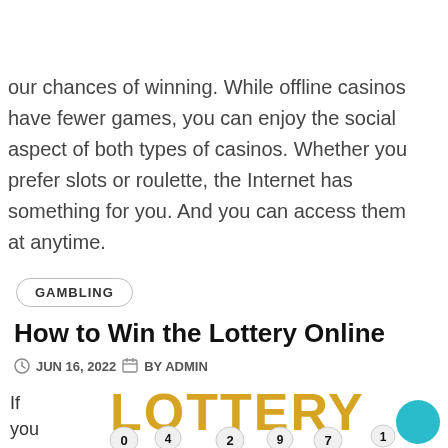these casinos offer promotional bonuses to increase
greenwichseniorrecrui
your chances of winning. While offline casinos have fewer games, you can enjoy the social aspect of both types of casinos. Whether you prefer slots or roulette, the Internet has something for you. And you can access them at anytime.
GAMBLING
How to Win the Lottery Online
JUN 16, 2022  BY ADMIN
If you have eve
[Figure (photo): Image showing large golden 3D letters spelling LOTTERY with numbered lottery balls (0,4,2,9,7,1,2,3,6) scattered below on a white background, with a teal circle in the bottom right corner.]